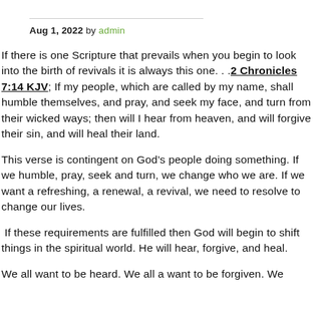Aug 1, 2022 by admin
If there is one Scripture that prevails when you begin to look into the birth of revivals it is always this one. . .2 Chronicles 7:14 KJV; If my people, which are called by my name, shall humble themselves, and pray, and seek my face, and turn from their wicked ways; then will I hear from heaven, and will forgive their sin, and will heal their land.
This verse is contingent on God’s people doing something. If we humble, pray, seek and turn, we change who we are. If we want a refreshing, a renewal, a revival, we need to resolve to change our lives.
If these requirements are fulfilled then God will begin to shift things in the spiritual world. He will hear, forgive, and heal.
We all want to be heard. We all a want to be forgiven. We